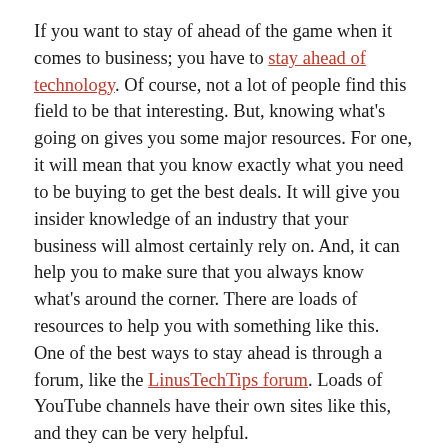If you want to stay of ahead of the game when it comes to business; you have to stay ahead of technology. Of course, not a lot of people find this field to be that interesting. But, knowing what's going on gives you some major resources. For one, it will mean that you know exactly what you need to be buying to get the best deals. It will give you insider knowledge of an industry that your business will almost certainly rely on. And, it can help you to make sure that you always know what's around the corner. There are loads of resources to help you with something like this. One of the best ways to stay ahead is through a forum, like the LinusTechTips forum. Loads of YouTube channels have their own sites like this, and they can be very helpful.
Next, once you know what you need to buy; you need to know exactly how to use it. Now, depending on your industry, you'll be getting different types of tech. So, learning how to use it could take some time. This is especially true for anything involved in manufacturing. Whether you work with plastics and use scientific injection molding, or you work with metal and use CNC lathes; a course will be the best option. This will give you